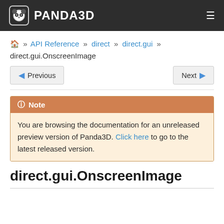PANDA3D
» API Reference » direct » direct.gui » direct.gui.OnscreenImage
Previous | Next
Note
You are browsing the documentation for an unreleased preview version of Panda3D. Click here to go to the latest released version.
direct.gui.OnscreenImage